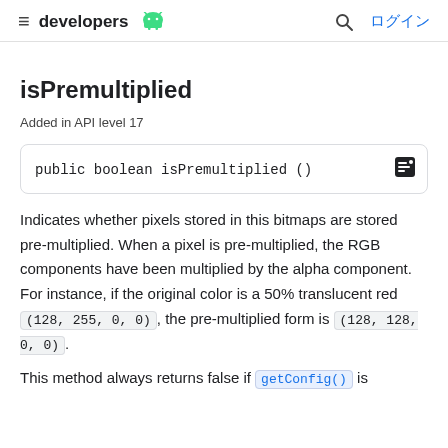≡ developers [android logo] 🔍 ログイン
isPremultiplied
Added in API level 17
public boolean isPremultiplied ()
Indicates whether pixels stored in this bitmaps are stored pre-multiplied. When a pixel is pre-multiplied, the RGB components have been multiplied by the alpha component. For instance, if the original color is a 50% translucent red (128, 255, 0, 0), the pre-multiplied form is (128, 128, 0, 0).
This method always returns false if getConfig() is